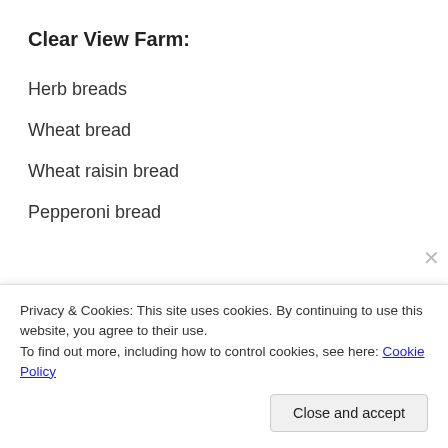Clear View Farm:
Herb breads
Wheat bread
Wheat raisin bread
Pepperoni bread
Privacy & Cookies: This site uses cookies. By continuing to use this website, you agree to their use.
To find out more, including how to control cookies, see here: Cookie Policy
Close and accept